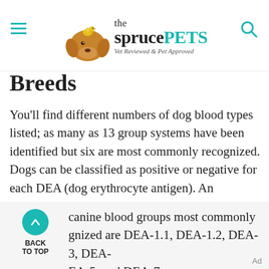the spruce PETS — Vet Reviewed & Pet Approved
Breeds
You'll find different numbers of dog blood types listed; as many as 13 group systems have been identified but six are most commonly recognized. Dogs can be classified as positive or negative for each DEA (dog erythrocyte antigen). An erythrocyte is a red blood cell.
The canine blood groups most commonly recognized are DEA-1.1, DEA-1.2, DEA-3, DEA-4, DEA-5, and DEA-7.
Ad